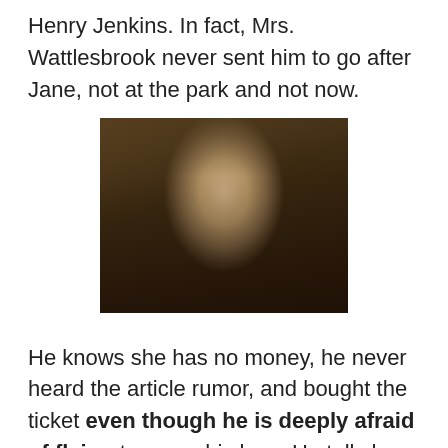Henry Jenkins. In fact, Mrs. Wattlesbrook never sent him to go after Jane, not at the park and not now.
[Figure (photo): Close-up photo of a young man with light brown hair wearing a dark jacket, looking slightly off-camera with a neutral expression, indoors with a wooden structure visible in background.]
He knows she has no money, he never heard the article rumor, and bought the ticket even though he is deeply afraid of flying to prove his love. He tells her that if it is too much he can wait, if they just start out slow and then see where it takes them.
[Figure (photo): Partial image showing text "Waiting" in italic script over a blurred light background with a figure visible on the right.]